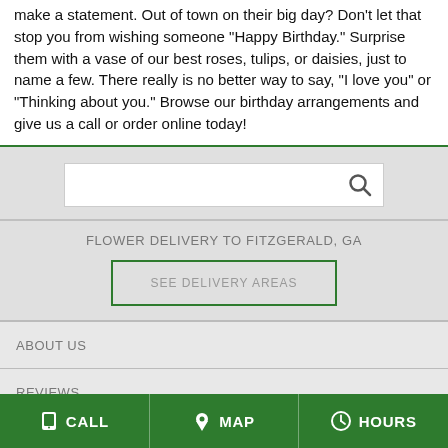make a statement. Out of town on their big day? Don't let that stop you from wishing someone "Happy Birthday." Surprise them with a vase of our best roses, tulips, or daisies, just to name a few. There really is no better way to say, "I love you" or "Thinking about you." Browse our birthday arrangements and give us a call or order online today!
[Figure (screenshot): Search input box with magnifying glass icon on grey background]
FLOWER DELIVERY TO FITZGERALD, GA
SEE DELIVERY AREAS
ABOUT US
REVIEWS
CALL  MAP  HOURS